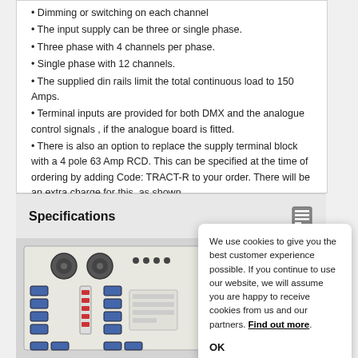Dimming or switching on each channel
The input supply can be three or single phase.
Three phase with 4 channels per phase.
Single phase with 12 channels.
The supplied din rails limit the total continuous load to 150 Amps.
Terminal inputs are provided for both DMX and the analogue control signals , if the analogue board is fitted.
There is also an option to replace the supply terminal block with a 4 pole 63 Amp RCD. This can be specified at the time of ordering by adding Code: TRACT-R to your order. There will be an extra charge for this, as shown.
Specifications
[Figure (photo): Photo of a rack-mounted lighting dimmer/switch unit showing circuit breakers, fans, and terminal blocks]
We use cookies to give you the best customer experience possible. If you continue to use our website, we will assume you are happy to receive cookies from us and our partners. Find out more. OK